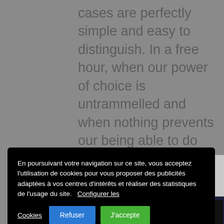cases are perfectly simple and easy to distinguish. In a free hour, when our power of choice is untrammelled and when nothing prevents our being able to do what we like best, every pleasure is to
[Figure (screenshot): CAPTCHA widget with checkbox labeled 'I'm not a robot' on a grey background]
[Figure (logo): Vimeo logo text on dark navy background showing 'vime' partial text]
En poursuivant votre navigation sur ce site, vous acceptez l'utilisation de cookies pour vous proposer des publicités adaptées à vos centres d'intérêts et réaliser des statistiques de l'usage du site. Configurer les Cookies
Refuser
J'accepte